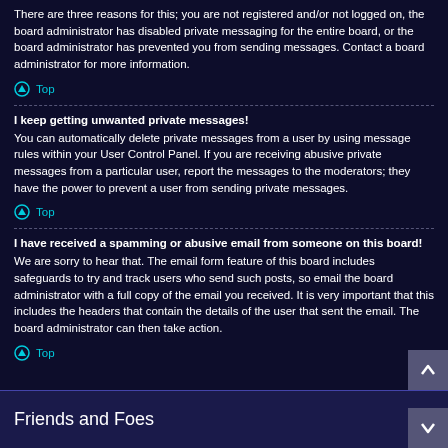There are three reasons for this; you are not registered and/or not logged on, the board administrator has disabled private messaging for the entire board, or the board administrator has prevented you from sending messages. Contact a board administrator for more information.
Top
I keep getting unwanted private messages!
You can automatically delete private messages from a user by using message rules within your User Control Panel. If you are receiving abusive private messages from a particular user, report the messages to the moderators; they have the power to prevent a user from sending private messages.
Top
I have received a spamming or abusive email from someone on this board!
We are sorry to hear that. The email form feature of this board includes safeguards to try and track users who send such posts, so email the board administrator with a full copy of the email you received. It is very important that this includes the headers that contain the details of the user that sent the email. The board administrator can then take action.
Top
Friends and Foes